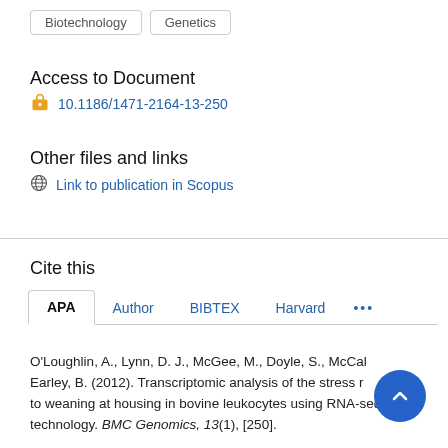Biotechnology
Genetics
Access to Document
10.1186/1471-2164-13-250
Other files and links
Link to publication in Scopus
Cite this
APA   Author   BIBTEX   Harvard   ...
O'Loughlin, A., Lynn, D. J., McGee, M., Doyle, S., McCal... Earley, B. (2012). Transcriptomic analysis of the stress r... to weaning at housing in bovine leukocytes using RNA-seq technology. BMC Genomics, 13(1), [250].